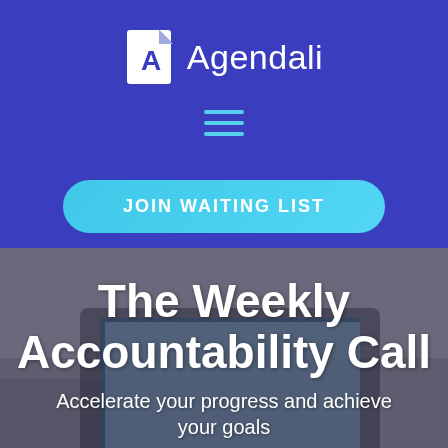[Figure (logo): Agendali logo with white document icon with blue corner fold and letter A, followed by text 'Agendali' in white on blue background]
[Figure (other): Hamburger menu icon with three cyan/teal horizontal lines on blue background]
JOIN WAITING LIST
[Figure (screenshot): Background photo of a laptop on a desk showing the Agendali app interface, blurred/darkened. Overlaid with hero text.]
The Weekly Accountability Call
Accelerate your progress and achieve your goals